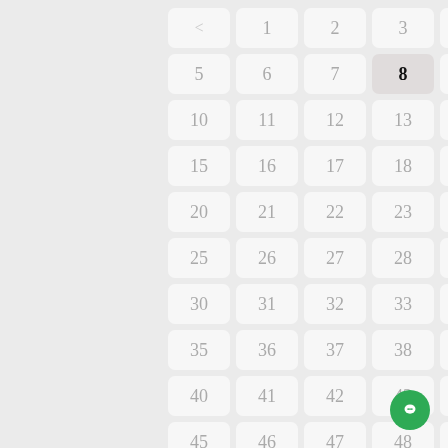[Figure (other): A paginator/number grid UI showing numbers from < (back navigation) through 49, arranged in a 5-column grid of rounded rectangle buttons. Number 8 is highlighted with a darker background and bold text. A green chat button is in the bottom-right corner.]